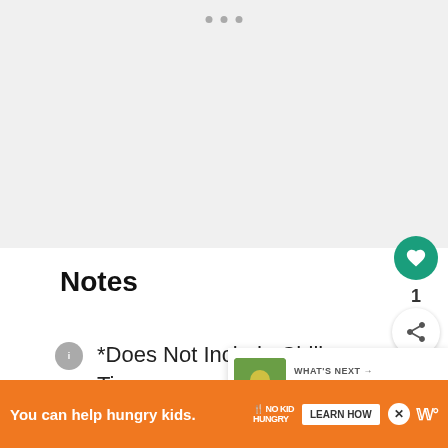[Figure (screenshot): Top gray placeholder area with three small dots]
Notes
*Does Not Include Chill Time
[Figure (other): What's Next panel with thumbnail: Grilled Peach Salad with...]
[Figure (other): Advertisement banner: You can help hungry kids. NO KID HUNGRY LEARN HOW]